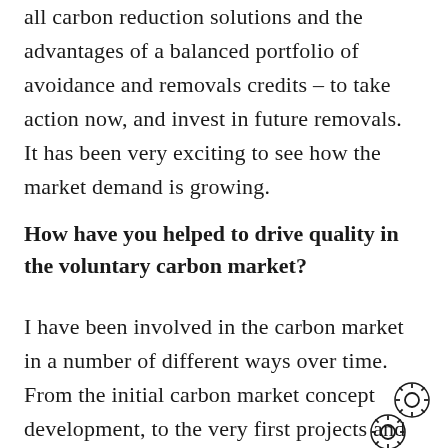all carbon reduction solutions and the advantages of a balanced portfolio of avoidance and removals credits – to take action now, and invest in future removals.  It has been very exciting to see how the market demand is growing.
How have you helped to drive quality in the voluntary carbon market?
I have been involved in the carbon market in a number of different ways over time. From the initial carbon market concept development, to the very first projects and trades. I've see the…